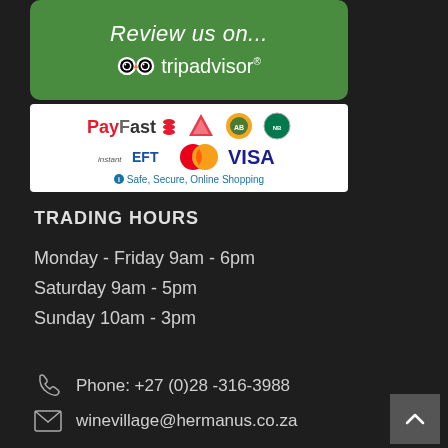[Figure (logo): TripAdvisor 'Review us on...' green banner with owl logo and tripadvisor brand name]
[Figure (logo): PayFast payment methods banner showing PayFast logo, Absa, African Bank, Nedbank, Instant EFT, MasterCard, VISA logos and 'Safe, Secure, Online Shopping' text]
TRADING HOURS
Monday - Friday 9am - 6pm
Saturday 9am - 5pm
Sunday 10am - 3pm
Phone: +27 (0)28 -316-3988
winevillage@hermanus.co.za